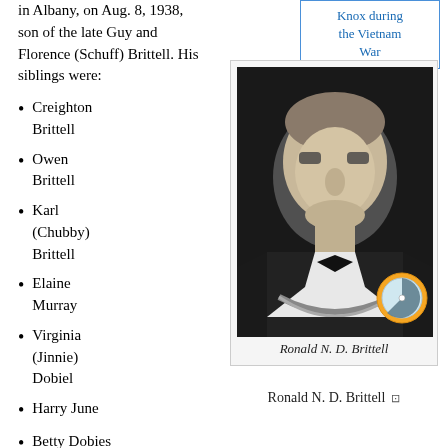in Albany, on Aug. 8, 1938, son of the late Guy and Florence (Schuff) Brittell. His siblings were:
Knox during the Vietnam War
Creighton Brittell
Owen Brittell
Karl (Chubby) Brittell
Elaine Murray
Virginia (Jinnie) Dobiel
Harry June
Betty Dobies
[Figure (photo): Black and white portrait photo of Ronald N. D. Brittell, a man in formal attire with a bow tie and ceremonial chain/necklace.]
Ronald N. D. Brittell